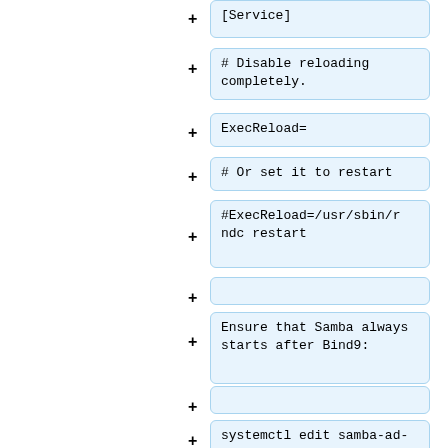[Figure (screenshot): A series of code/text blocks with + signs on the left, showing systemd service configuration snippets for disabling reload and ensuring Samba starts after Bind9]
[Service]
# Disable reloading completely.
ExecReload=
# Or set it to restart
#ExecReload=/usr/sbin/rndc restart
(empty block)
Ensure that Samba always starts after Bind9:
(empty block)
systemctl edit samba-ad-dc.service